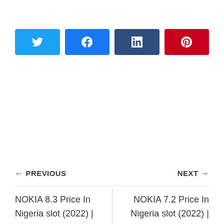[Figure (other): Social share buttons row: Twitter (light blue), Facebook (blue), LinkedIn (dark blue), Pinterest (red), each with white icon]
← PREVIOUS
NEXT →
NOKIA 8.3 Price In Nigeria slot (2022) | 4500mAh – Specs
NOKIA 7.2 Price In Nigeria slot (2022) | 64GB/128GB ROM – Specs